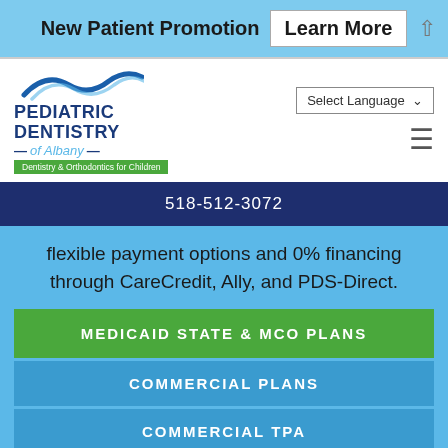New Patient Promotion  Learn More
[Figure (logo): Pediatric Dentistry of Albany logo with wave graphic and green tagline bar]
518-512-3072
flexible payment options and 0% financing through CareCredit, Ally, and PDS-Direct.
MEDICAID STATE & MCO PLANS
COMMERCIAL PLANS
COMMERCIAL TPA
MEDICAID STATE & MCO PLANS